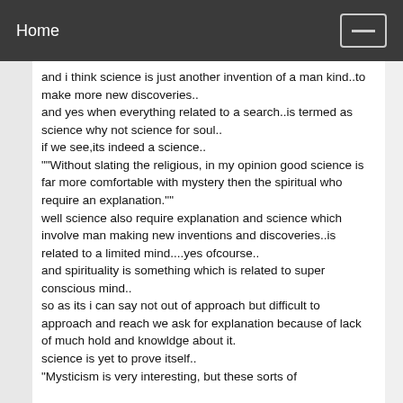Home
and i think science is just another invention of a man kind..to make more new discoveries..
and yes when everything related to a search..is termed as science why not science for soul..
if we see,its indeed a science..
""Without slating the religious, in my opinion good science is far more comfortable with mystery then the spiritual who require an explanation.""
well science also require explanation and science which involve man making new inventions and discoveries..is related to a limited mind....yes ofcourse..
and spirituality is something which is related to super conscious mind..
so as its i can say not out of approach but difficult to approach and reach we ask for explanation because of lack of much hold and knowldge about it.
science is yet to prove itself..
"Mysticism is very interesting, but these sorts of